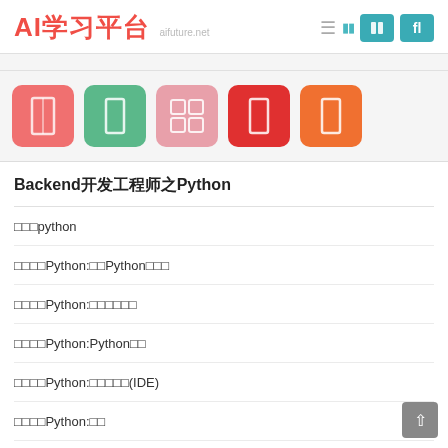AI学习平台 - aifuture.net
[Figure (other): Five colored category icon tiles: pink, green, light pink, red, orange]
Backend开发工程师之Python
初识python
学习笔记Python:认识Python语言特性
学习笔记Python:开发环境搭建
学习笔记Python:Python基础
学习笔记Python:集成开发环境(IDE)
学习笔记Python:变量
学习笔记Python:数据类型